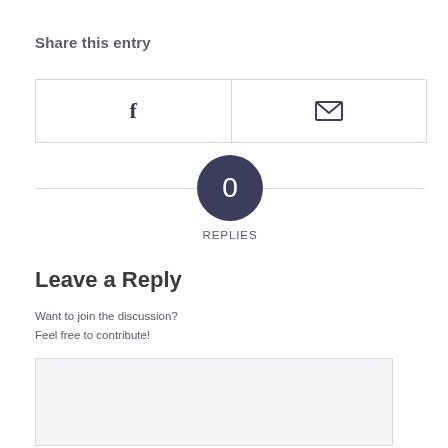Share this entry
[Figure (other): Two share buttons side by side: a Facebook icon (f) on the left and an email/envelope icon on the right, separated by a vertical divider, all within a bordered box.]
0
REPLIES
Leave a Reply
Want to join the discussion?
Feel free to contribute!
[Figure (other): A large empty text area / comment input box with a light gray background.]